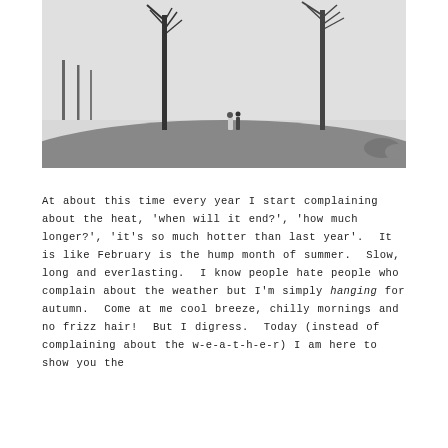[Figure (photo): Black and white photograph of a couple walking on a grassy hill with tall bare trees in the background against a light grey sky.]
At about this time every year I start complaining about the heat, 'when will it end?', 'how much longer?', 'it's so much hotter than last year'.  It is like February is the hump month of summer.  Slow, long and everlasting.  I know people hate people who complain about the weather but I'm simply hanging for autumn.  Come at me cool breeze, chilly mornings and no frizz hair!  But I digress.  Today (instead of complaining about the w-e-a-t-h-e-r) I am here to show you the